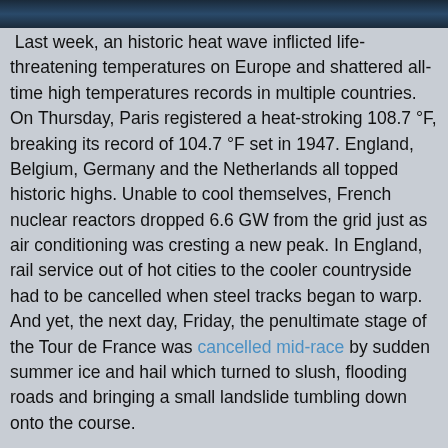[Figure (photo): A dark image strip at the top of the page, partially visible, appears to show a nighttime or dark scene.]
Last week, an historic heat wave inflicted life-threatening temperatures on Europe and shattered all-time high temperatures records in multiple countries. On Thursday, Paris registered a heat-stroking 108.7 °F, breaking its record of 104.7 °F set in 1947. England, Belgium, Germany and the Netherlands all topped historic highs. Unable to cool themselves, French nuclear reactors dropped 6.6 GW from the grid just as air conditioning was cresting a new peak. In England, rail service out of hot cities to the cooler countryside had to be cancelled when steel tracks began to warp. And yet, the next day, Friday, the penultimate stage of the Tour de France was cancelled mid-race by sudden summer ice and hail which turned to slush, flooding roads and bringing a small landslide tumbling down onto the course.
Amid all this climate of chaos, I rented a bike and cycled the paths of Romney Marsh, in southeastern England, ghost-hunting.
Through a series of happy accidents I learned a couple